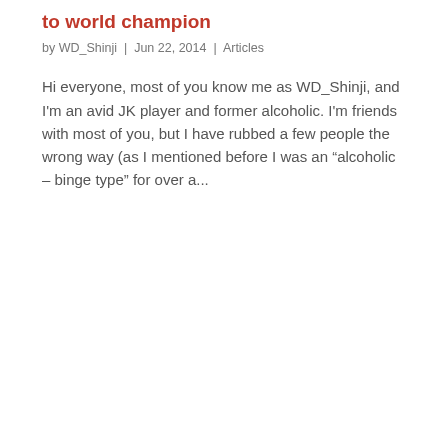to world champion
by WD_Shinji | Jun 22, 2014 | Articles
Hi everyone, most of you know me as WD_Shinji, and I'm an avid JK player and former alcoholic. I'm friends with most of you, but I have rubbed a few people the wrong way (as I mentioned before I was an “drinking – binge type” for over a...